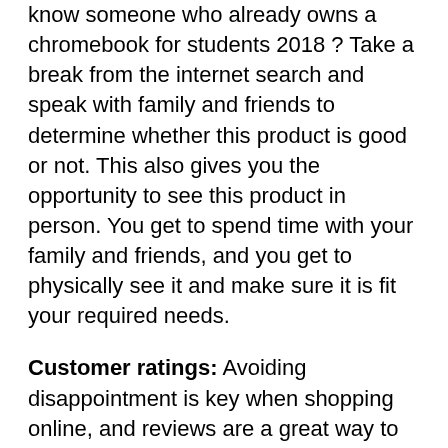know someone who already owns a chromebook for students 2018 ? Take a break from the internet search and speak with family and friends to determine whether this product is good or not. This also gives you the opportunity to see this product in person. You get to spend time with your family and friends, and you get to physically see it and make sure it is fit your required needs.
Customer ratings: Avoiding disappointment is key when shopping online, and reviews are a great way to do that. Check out the reviews of previous customers and make your decision accordingly. Make sure you look at reviews from the lowest level of rating to the highest.